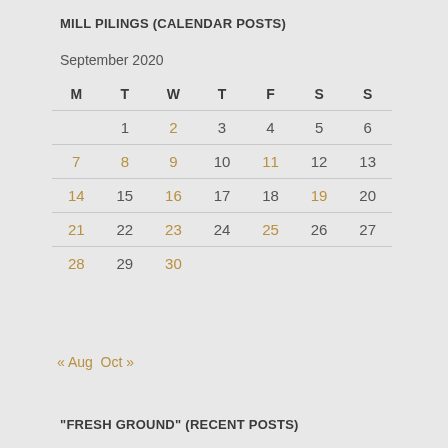MILL PILINGS (CALENDAR POSTS)
September 2020
| M | T | W | T | F | S | S |
| --- | --- | --- | --- | --- | --- | --- |
|  | 1 | 2 | 3 | 4 | 5 | 6 |
| 7 | 8 | 9 | 10 | 11 | 12 | 13 |
| 14 | 15 | 16 | 17 | 18 | 19 | 20 |
| 21 | 22 | 23 | 24 | 25 | 26 | 27 |
| 28 | 29 | 30 |  |  |  |  |
« Aug   Oct »
"FRESH GROUND" (RECENT POSTS)